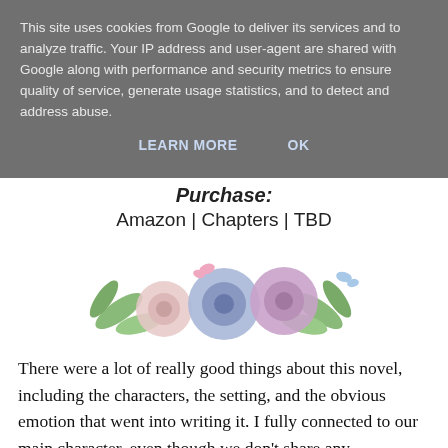This site uses cookies from Google to deliver its services and to analyze traffic. Your IP address and user-agent are shared with Google along with performance and security metrics to ensure quality of service, generate usage statistics, and to detect and address abuse.
LEARN MORE    OK
Purchase:
Amazon | Chapters | TBD
[Figure (illustration): Watercolor floral illustration with pink, blue, and light pink roses, green leaves, and small pink butterflies]
There were a lot of really good things about this novel, including the characters, the setting, and the obvious emotion that went into writing it. I fully connected to our main character, even though we don't share any similarities, which is a true testament to